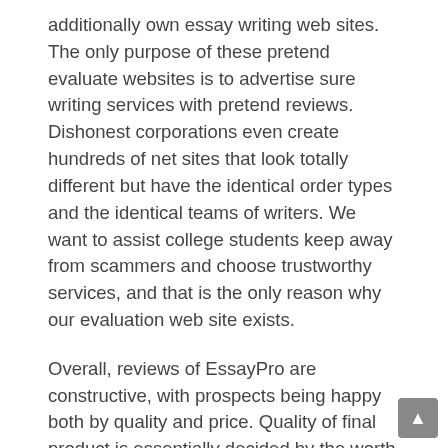additionally own essay writing web sites. The only purpose of these pretend evaluate websites is to advertise sure writing services with pretend reviews. Dishonest corporations even create hundreds of net sites that look totally different but have the identical order types and the identical teams of writers. We want to assist college students keep away from scammers and choose trustworthy services, and that is the only reason why our evaluation web site exists.
Overall, reviews of EssayPro are constructive, with prospects being happy both by quality and price. Quality of final product is essentially decided by the worth you pay, which makes sense. Often, these assignments that schools have us do, donât even have any relevance to our real lives, or lives after faculty. But our professors were taught to do essays, so they inform us to do essays. Tragedy can strike and your instructors wonât all the time be sympathetic.